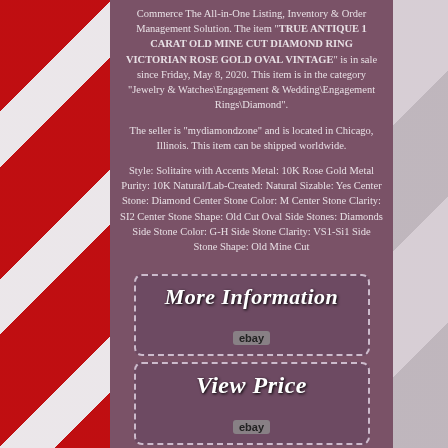Commerce The All-in-One Listing, Inventory & Order Management Solution. The item "TRUE ANTIQUE 1 CARAT OLD MINE CUT DIAMOND RING VICTORIAN ROSE GOLD OVAL VINTAGE" is in sale since Friday, May 8, 2020. This item is in the category "Jewelry & Watches\Engagement & Wedding\Engagement Rings\Diamond".
The seller is "mydiamondzone" and is located in Chicago, Illinois. This item can be shipped worldwide.
Style: Solitaire with Accents Metal: 10K Rose Gold Metal Purity: 10K Natural/Lab-Created: Natural Sizable: Yes Center Stone: Diamond Center Stone Color: M Center Stone Clarity: SI2 Center Stone Shape: Old Cut Oval Side Stones: Diamonds Side Stone Color: G-H Side Stone Clarity: VS1-Si1 Side Stone Shape: Old Mine Cut
[Figure (screenshot): A dashed-border button graphic with text 'More Information' and 'ebay' label beneath it]
[Figure (screenshot): A dashed-border button graphic with text 'View Price' and 'ebay' label beneath it]